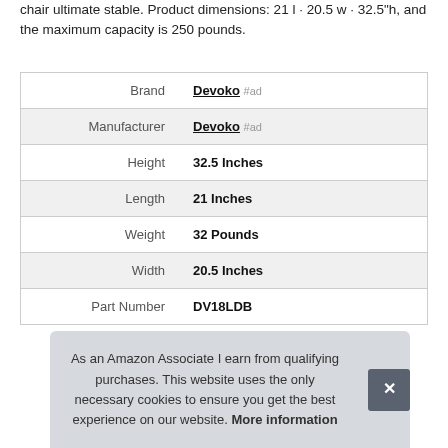chair ultimate stable. Product dimensions: 21 l · 20.5 w · 32.5"h, and the maximum capacity is 250 pounds.
|  |  |
| --- | --- |
| Brand | Devoko #ad |
| Manufacturer | Devoko #ad |
| Height | 32.5 Inches |
| Length | 21 Inches |
| Weight | 32 Pounds |
| Width | 20.5 Inches |
| Part Number | DV18LDB |
As an Amazon Associate I earn from qualifying purchases. This website uses the only necessary cookies to ensure you get the best experience on our website. More information